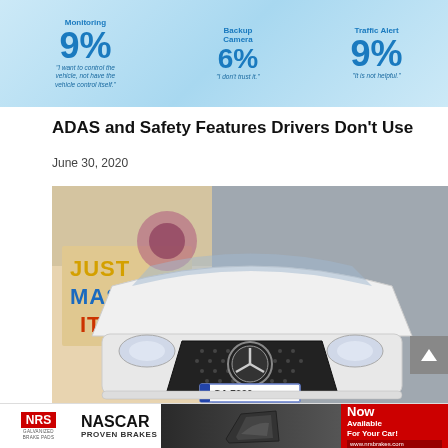[Figure (infographic): ADAS feature rejection infographic showing: Lane Departure/Monitoring 9% with quote 'I want to control the vehicle, not have the vehicle control itself.', Backup Camera 6% with quote 'I don't trust it.', Traffic Alert 9% with quote 'It is not helpful.']
ADAS and Safety Features Drivers Don't Use
June 30, 2020
[Figure (photo): White Mercedes-Benz car front view with grille and Mercedes star logo, license plate S CA 7320, in front of colorful mural reading 'JUST MASH IT!']
[Figure (other): NRS Galvanized Brake Pads advertisement: NASCAR Proven Brakes - Now Available For Your Car! www.nrsbrakes.com]